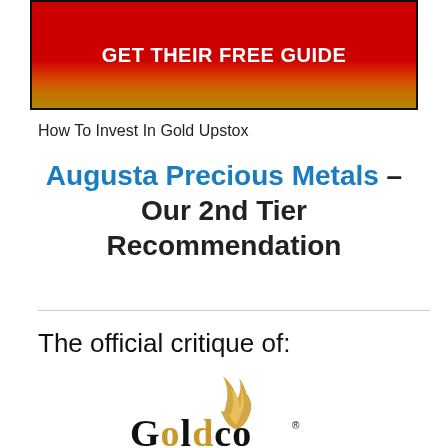[Figure (other): Red-to-orange gradient banner button with white bold text 'GET THEIR FREE GUIDE']
How To Invest In Gold Upstox
Augusta Precious Metals – Our 2nd Tier Recommendation
The official critique of:
[Figure (logo): Goldco logo with golden flame/feather icon above stylized text 'GOLDCO' with registered trademark symbol]